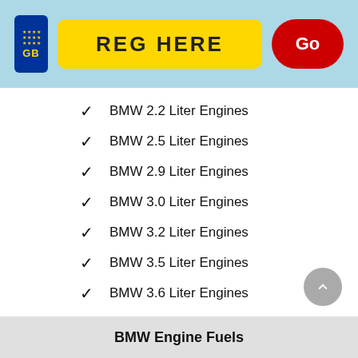[Figure (screenshot): UK vehicle registration plate search bar with yellow input area labeled REG HERE and a red Go button, on a light blue background]
BMW 2.2 Liter Engines
BMW 2.5 Liter Engines
BMW 2.9 Liter Engines
BMW 3.0 Liter Engines
BMW 3.2 Liter Engines
BMW 3.5 Liter Engines
BMW 3.6 Liter Engines
View all
BMW Engine Fuels